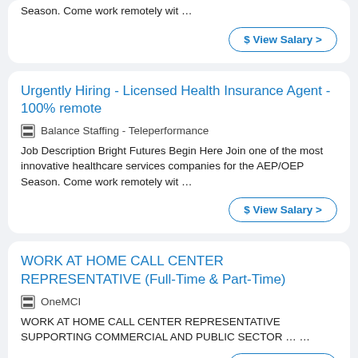Season. Come work remotely wit …
$ View Salary >
Urgently Hiring - Licensed Health Insurance Agent - 100% remote
🏢 Balance Staffing - Teleperformance
Job Description Bright Futures Begin Here Join one of the most innovative healthcare services companies for the AEP/OEP Season. Come work remotely wit …
$ View Salary >
WORK AT HOME CALL CENTER REPRESENTATIVE (Full-Time & Part-Time)
🏢 OneMCI
WORK AT HOME CALL CENTER REPRESENTATIVE SUPPORTING COMMERCIAL AND PUBLIC SECTOR … …
$ View Salary >